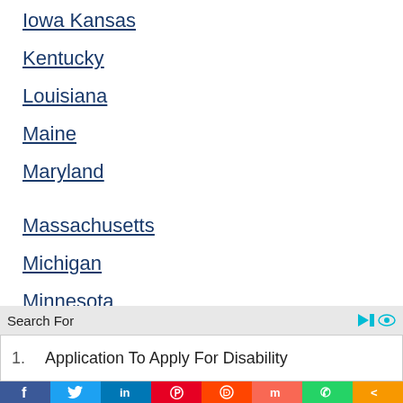Iowa Kansas
Kentucky
Louisiana
Maine
Maryland
Massachusetts
Michigan
Minnesota
Mississippi
Search For
1.  Application To Apply For Disability